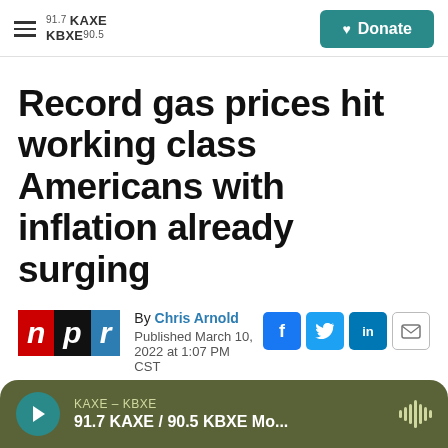KAXE 91.7 / KBXE 90.5 — Donate
Record gas prices hit working class Americans with inflation already surging
By Chris Arnold
Published March 10, 2022 at 1:07 PM CST
[Figure (logo): NPR logo with n in red, p in black, r in blue]
[Figure (other): Social sharing icons: Facebook, Twitter, LinkedIn, Email]
KAXE – KBXE
91.7 KAXE / 90.5 KBXE Mo...